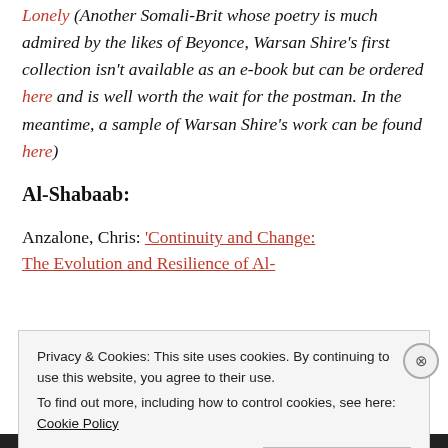Lonely (Another Somali-Brit whose poetry is much admired by the likes of Beyonce, Warsan Shire's first collection isn't available as an e-book but can be ordered here and is well worth the wait for the postman. In the meantime, a sample of Warsan Shire's work can be found here)
Al-Shabaab:
Anzalone, Chris: 'Continuity and Change: The Evolution and Resilience of Al-
Privacy & Cookies: This site uses cookies. By continuing to use this website, you agree to their use. To find out more, including how to control cookies, see here: Cookie Policy